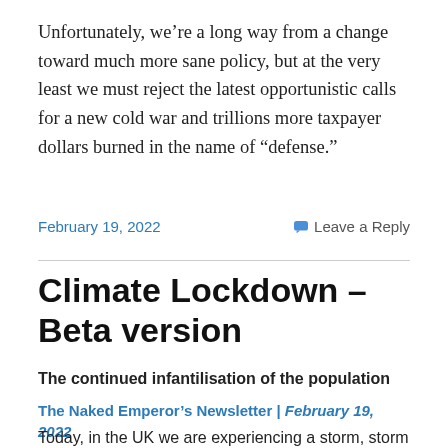Unfortunately, we’re a long way from a change toward much more sane policy, but at the very least we must reject the latest opportunistic calls for a new cold war and trillions more taxpayer dollars burned in the name of “defense.”
February 19, 2022  Leave a Reply
Climate Lockdown – Beta version
The continued infantilisation of the population
The Naked Emperor’s Newsletter | February 19, 2022
Today, in the UK we are experiencing a storm, storm